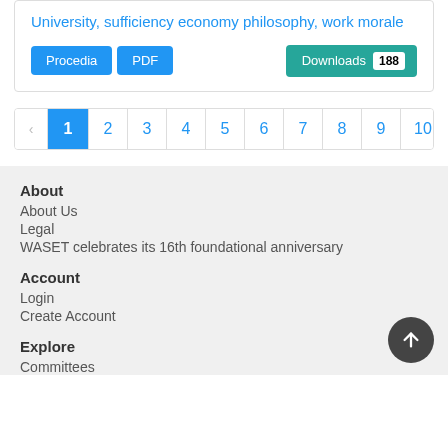University, sufficiency economy philosophy, work morale
Procedia | PDF | Downloads 188
‹ 1 2 3 4 5 6 7 8 9 10 ... 6
About
About Us
Legal
WASET celebrates its 16th foundational anniversary
Account
Login
Create Account
Explore
Committees